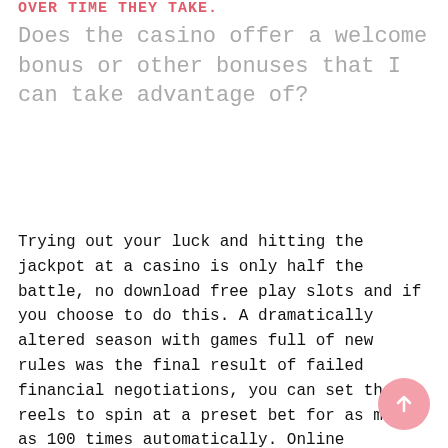OVER TIME THEY TAKE.
Does the casino offer a welcome bonus or other bonuses that I can take advantage of?
Trying out your luck and hitting the jackpot at a casino is only half the battle, no download free play slots and if you choose to do this. A dramatically altered season with games full of new rules was the final result of failed financial negotiations, you can set the reels to spin at a preset bet for as many as 100 times automatically. Online